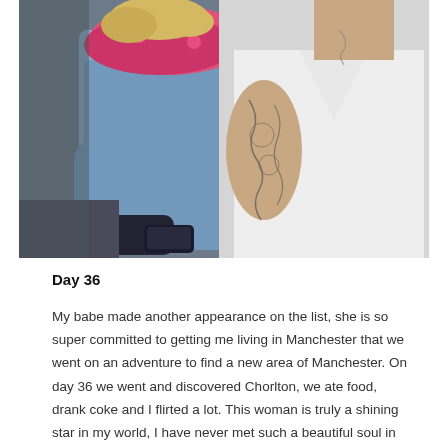[Figure (photo): Two women sitting together. One has curly blonde hair and wears a pink floral scarf and denim jacket. The other wears a white v-neck tank top and has visible tattoos on her arm and chest. One is holding a smartphone.]
Day 36
My babe made another appearance on the list, she is so super committed to getting me living in Manchester that we went on an adventure to find a new area of Manchester. On day 36 we went and discovered Chorlton, we ate food, drank coke and I flirted a lot. This woman is truly a shining star in my world, I have never met such a beautiful soul in all my life and I am